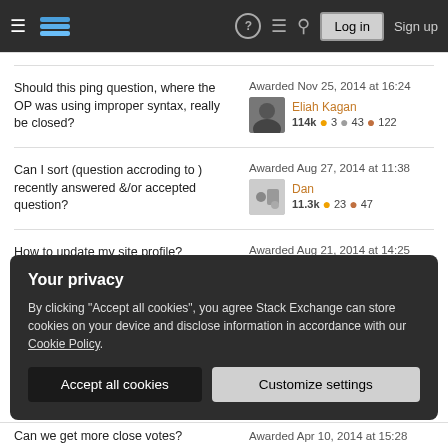Stack Exchange navigation bar with hamburger menu, logo, help, chat, search icons, Log in and Sign up buttons
Should this ping question, where the OP was using improper syntax, really be closed?
Awarded Nov 25, 2014 at 16:24 — Eliah Kagan 114k • 3 • 43 • 122
Can I sort (question accroding to) recently answered &/or accepted question?
Awarded Aug 27, 2014 at 11:38 — Dan 11.3k • 23 • 47
How to update my site profile?
Awarded Aug 21, 2014 at 14:25 — jmiserez
Your privacy
By clicking "Accept all cookies", you agree Stack Exchange can store cookies on your device and disclose information in accordance with our Cookie Policy.
Accept all cookies
Customize settings
Can we get more close votes?
Awarded Apr 10, 2014 at 15:28